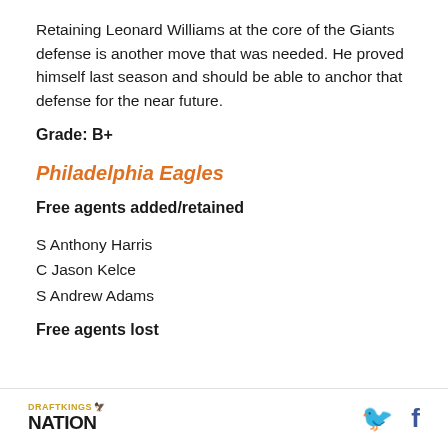Retaining Leonard Williams at the core of the Giants defense is another move that was needed. He proved himself last season and should be able to anchor that defense for the near future.
Grade: B+
Philadelphia Eagles
Free agents added/retained
S Anthony Harris
C Jason Kelce
S Andrew Adams
Free agents lost
DRAFTKINGS NATION